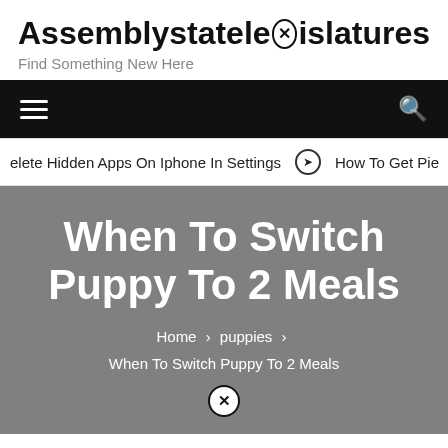Assemblystatelegislatures
Find Something New Here
hamburger menu | search icon
elete Hidden Apps On Iphone In Settings  ➔  How To Get Pie
When To Switch Puppy To 2 Meals
Home › puppies › When To Switch Puppy To 2 Meals